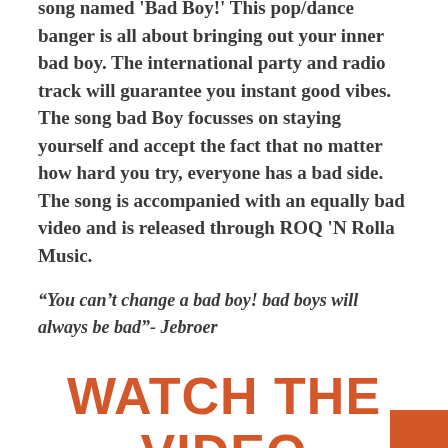song named 'Bad Boy!' This pop/dance banger is all about bringing out your inner bad boy. The international party and radio track will guarantee you instant good vibes. The song bad Boy focusses on staying yourself and accept the fact that no matter how hard you try, everyone has a bad side. The song is accompanied with an equally bad video and is released through ROQ 'N Rolla Music.
“You can’t change a bad boy! bad boys will always be bad”- Jebroer
WATCH THE VIDEO